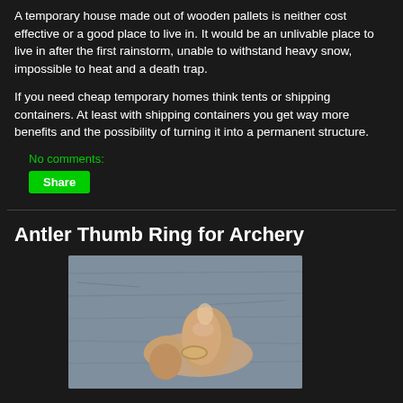A temporary house made out of wooden pallets is neither cost effective or a good place to live in. It would be an unlivable place to live in after the first rainstorm, unable to withstand heavy snow, impossible to heat and a death trap.
If you need cheap temporary homes think tents or shipping containers. At least with shipping containers you get way more benefits and the possibility of turning it into a permanent structure.
No comments:
Share
Antler Thumb Ring for Archery
[Figure (photo): A hand wearing or holding a thumb ring, photographed against a wooden surface background.]